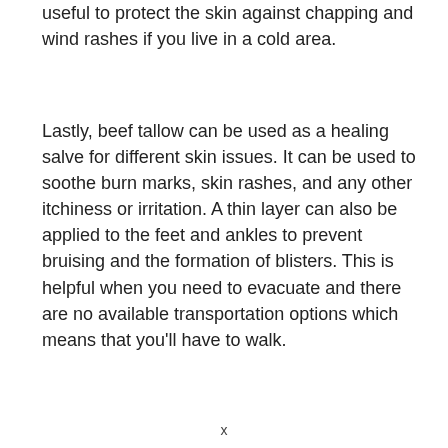useful to protect the skin against chapping and wind rashes if you live in a cold area.
Lastly, beef tallow can be used as a healing salve for different skin issues. It can be used to soothe burn marks, skin rashes, and any other itchiness or irritation. A thin layer can also be applied to the feet and ankles to prevent bruising and the formation of blisters. This is helpful when you need to evacuate and there are no available transportation options which means that you'll have to walk.
x